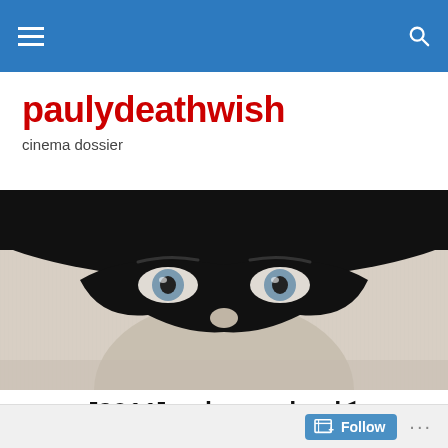paulydeathwish — navigation bar
paulydeathwish
cinema dossier
[Figure (photo): Black and white close-up photograph of a person's eyes wearing a black masquerade mask and a black hat, with light background]
خمس كاميرات محطمة [2011]
[5 BROKEN CAMERAS (2011)]
Follow